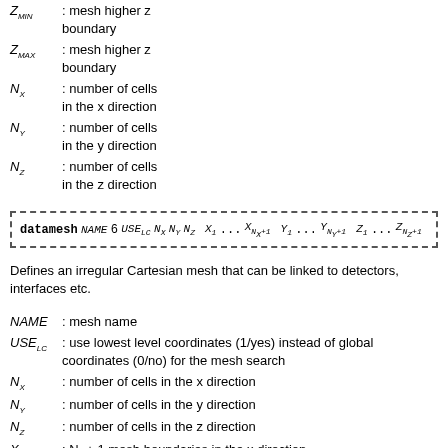Z_MIN : mesh higher z boundary
Z_MAX : mesh higher z boundary
N_X : number of cells in the x direction
N_Y : number of cells in the y direction
N_Z : number of cells in the z direction
Defines an irregular Cartesian mesh that can be linked to detectors, interfaces etc.
NAME : mesh name
USE_LC : use lowest level coordinates (1/yes) instead of global coordinates (0/no) for the mesh search
N_X : number of cells in the x direction
N_Y : number of cells in the y direction
N_Z : number of cells in the z direction
X_1 : N_x + 1 mesh boundaries in the x direction